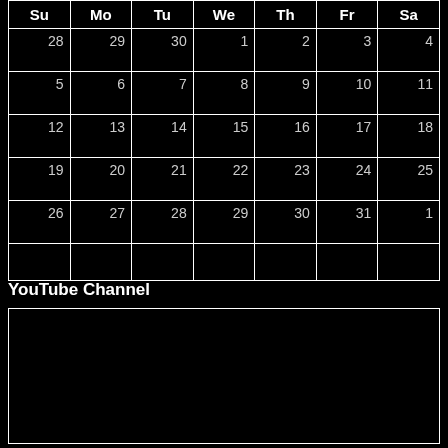| Su | Mo | Tu | We | Th | Fr | Sa |
| --- | --- | --- | --- | --- | --- | --- |
| 28 | 29 | 30 | 1 | 2 | 3 | 4 |
| 5 | 6 | 7 | 8 | 9 | 10 | 11 |
| 12 | 13 | 14 | 15 | 16 | 17 | 18 |
| 19 | 20 | 21 | 22 | 23 | 24 | 25 |
| 26 | 27 | 28 | 29 | 30 | 31 | 1 |
|  |  |  |  |  |  |  |
YouTube Channel
[Figure (other): Black rectangle representing an embedded YouTube video player area]